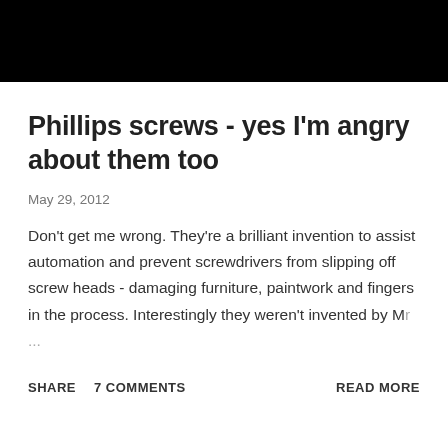[Figure (photo): Black banner/header image at top of page]
Phillips screws - yes I'm angry about them too
May 29, 2012
Don't get me wrong. They're a brilliant invention to assist automation and prevent screwdrivers from slipping off screw heads - damaging furniture, paintwork and fingers in the process. Interestingly they weren't invented by Mr ...
SHARE   7 COMMENTS   READ MORE